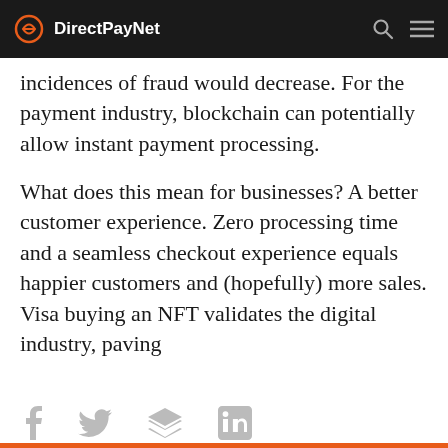DirectPayNet
incidences of fraud would decrease. For the payment industry, blockchain can potentially allow instant payment processing.
What does this mean for businesses? A better customer experience. Zero processing time and a seamless checkout experience equals happier customers and (hopefully) more sales. Visa buying an NFT validates the digital industry, paving
f  twitter  buffer  in